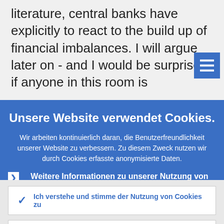literature, central banks have explicitly to react to the build up of financial imbalances. I will argue later on - and I would be surprised if anyone in this room is
Unsere Website verwendet Cookies.
Wir arbeiten kontinuierlich daran, die Benutzerfreundlichkeit unserer Website zu verbessern. Zu diesem Zweck nutzen wir durch Cookies erfasste anonymisierte Daten.
Weitere Informationen zu unserer Nutzung von Cookies
Ich verstehe und stimme der Nutzung von Cookies zu
Ich stimme der Nutzung von Cookies nicht zu